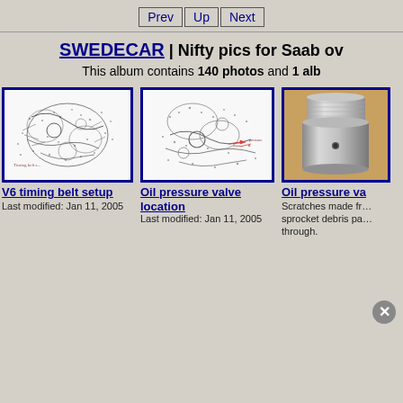Prev | Up | Next
SWEDECAR | Nifty pics for Saab ov…
This album contains 140 photos and 1 alb…
[Figure (illustration): V6 timing belt setup - black and white technical diagram/photo]
V6 timing belt setup
Last modified: Jan 11, 2005
[Figure (illustration): Oil pressure valve location - black and white technical diagram]
Oil pressure valve location
Last modified: Jan 11, 2005
[Figure (photo): Oil pressure valve - cylindrical metal part photo on brown background]
Oil pressure va…
Scratches made fr… sprocket debris pa… through.